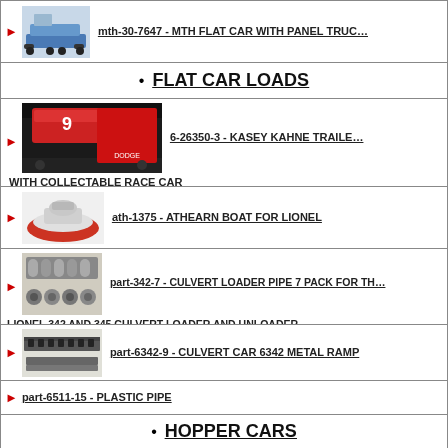mth-30-7647 - MTH FLAT CAR WITH PANEL TRUCK
FLAT CAR LOADS
6-26350-3 - KASEY KAHNE TRAILER WITH COLLECTABLE RACE CAR
ath-1375 - ATHEARN BOAT FOR LIONEL
part-342-7 - CULVERT LOADER PIPE 7 PACK FOR THE LIONEL 342 AND 345 CULVERT LOADER AND UNLOADER.
part-6342-9 - CULVERT CAR 6342 METAL RAMP
part-6511-15 - PLASTIC PIPE
HOPPER CARS